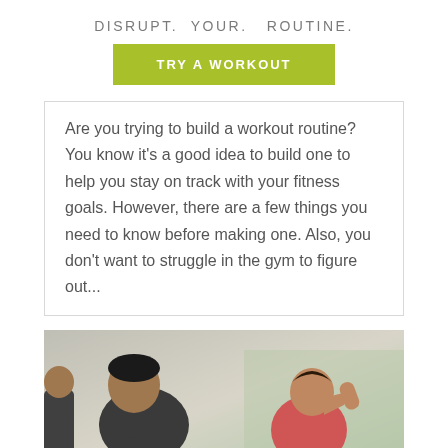DISRUPT. YOUR. ROUTINE.
TRY A WORKOUT
Are you trying to build a workout routine?  You know it's a good idea to build one to help you stay on track with your fitness goals. However, there are a few things you need to know before making one. Also, you don't want to struggle in the gym to figure out...
[Figure (photo): Two people in a gym setting, one in dark clothing on the left and one in a pink/red top on the right, appearing to be exercising or resting]